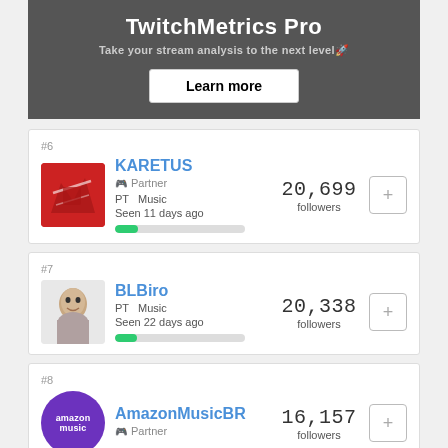TwitchMetrics Pro
Take your stream analysis to the next level🚀
Learn more
#6 KARETUS | Partner | PT Music | Seen 11 days ago | 20,699 followers
#7 BLBiro | PT Music | Seen 22 days ago | 20,338 followers
#8 AmazonMusicBR | Partner | 16,157 followers